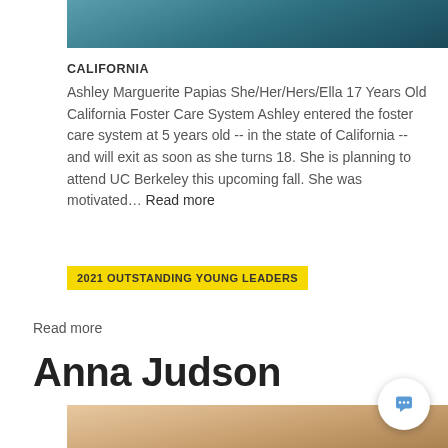[Figure (photo): Partial photo of Ashley, cropped at top of page showing teal/blue background]
CALIFORNIA
Ashley Marguerite Papias She/Her/Hers/Ella 17 Years Old California Foster Care System Ashley entered the foster care system at 5 years old -- in the state of California -- and will exit as soon as she turns 18. She is planning to attend UC Berkeley this upcoming fall. She was motivated… Read more
2021 OUTSTANDING YOUNG LEADERS
Read more
Anna Judson
[Figure (photo): Photo of Anna Judson, blonde woman, partially visible at bottom of page]